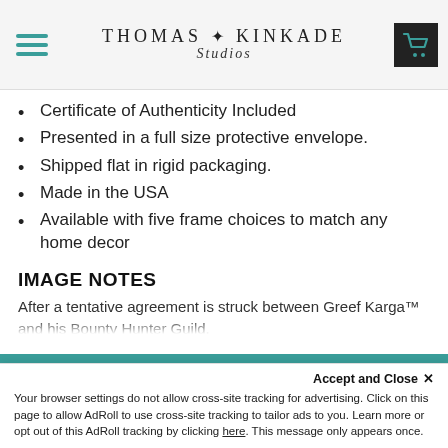Thomas Kinkade Studios
Certificate of Authenticity Included
Presented in a full size protective envelope.
Shipped flat in rigid packaging.
Made in the USA
Available with five frame choices to match any home decor
IMAGE NOTES
After a tentative agreement is struck between Greef Karga™ and his Bounty Hunter Guild, mercenaries' tensions still seem on edge as the
CURRENT SELECTION
Accept and Close ✕
Your browser settings do not allow cross-site tracking for advertising. Click on this page to allow AdRoll to use cross-site tracking to tailor ads to you. Learn more or opt out of this AdRoll tracking by clicking here. This message only appears once.